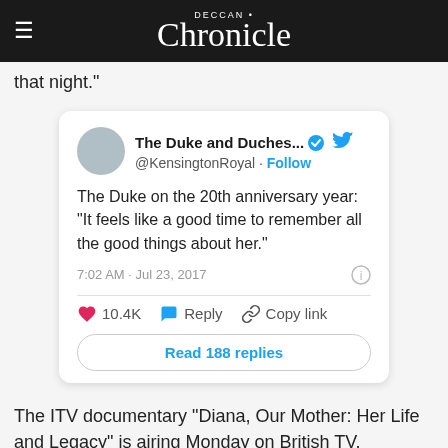DECCAN Chronicle
that night."
[Figure (screenshot): Embedded tweet from @KensingtonRoyal (The Duke and Duches...) with verified badge and Twitter bird icon. Tweet text: 'The Duke on the 20th anniversary year: "It feels like a good time to remember all the good things about her."' Posted at 7:02 AM · Jul 23, 2017. 10.4K likes, Reply, Copy link buttons. Read 188 replies button.]
The ITV documentary "Diana, Our Mother: Her Life and Legacy" is airing Monday on British TV. Excerpts from the film, and new family photographs, were released Sunday.